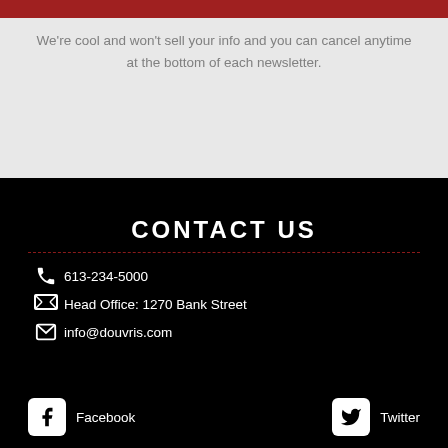We're cool and won't sell your info and you can cancel anytime at the bottom of each newsletter.
CONTACT US
613-234-5000
Head Office: 1270 Bank Street
info@douvris.com
Facebook
Twitter